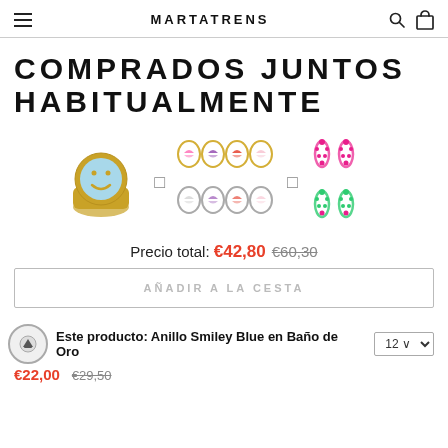MARTATRENS
COMPRADOS JUNTOS HABITUALMENTE
[Figure (photo): Three jewelry product images: a gold smiley face ring with blue enamel, a set of colorful butterfly hoop earrings, and colorful seahorse stud earrings]
Precio total: €42,80 €60,30
AÑADIR A LA CESTA
Este producto: Anillo Smiley Blue en Baño de Oro 12
€22,00 €29,50